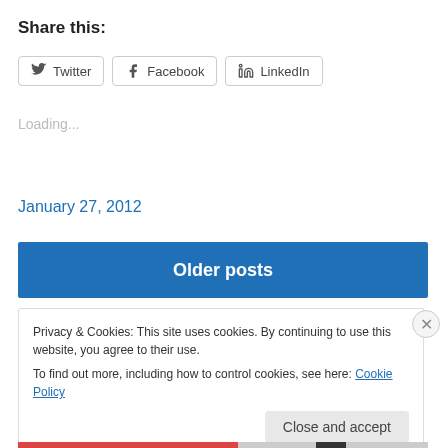Share this:
[Figure (other): Social share buttons: Twitter, Facebook, LinkedIn]
Loading...
January 27, 2012
[Figure (other): Older posts button (blue background)]
Privacy & Cookies: This site uses cookies. By continuing to use this website, you agree to their use.
To find out more, including how to control cookies, see here: Cookie Policy
Close and accept